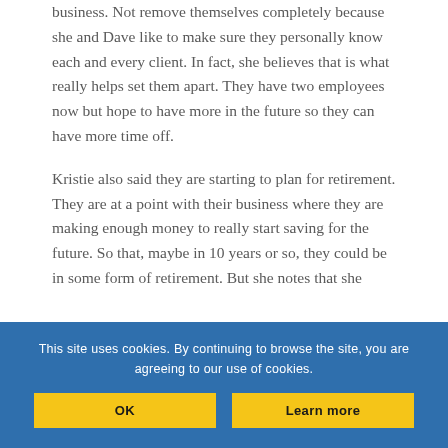business. Not remove themselves completely because she and Dave like to make sure they personally know each and every client. In fact, she believes that is what really helps set them apart. They have two employees now but hope to have more in the future so they can have more time off.
Kristie also said they are starting to plan for retirement. They are at a point with their business where they are making enough money to really start saving for the future. So that, maybe in 10 years or so, they could be in some form of retirement. But she notes that she
This site uses cookies. By continuing to browse the site, you are agreeing to our use of cookies.
OK
Learn more